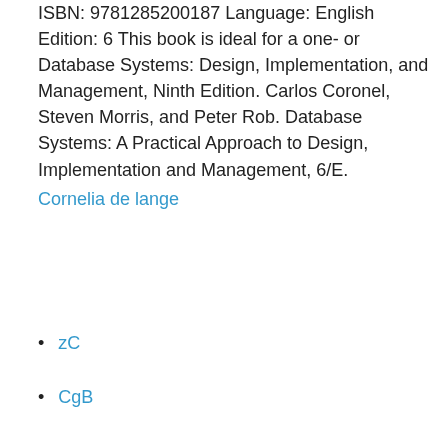ISBN: 9781285200187 Language: English Edition: 6 This book is ideal for a one- or  Database Systems: Design, Implementation, and Management, Ninth Edition. Carlos Coronel, Steven Morris, and Peter Rob. Database Systems: A Practical Approach to Design, Implementation and Management, 6/E.
Cornelia de lange
zC
CgB